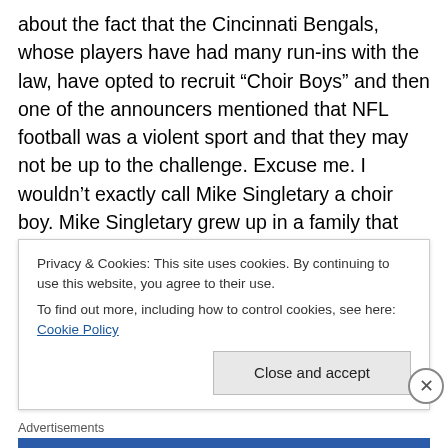about the fact that the Cincinnati Bengals, whose players have had many run-ins with the law, have opted to recruit “Choir Boys” and then one of the announcers mentioned that NFL football was a violent sport and that they may not be up to the challenge. Excuse me. I wouldn’t exactly call Mike Singletary a choir boy. Mike Singletary grew up in a family that had strong Christian beliefs (and he still does.) He once told me that he was the youngest of (if memory serves me) eight children and because he was the baby, his mother heaped mounds of love on him and he felt that the love he received from his mother was primarily
Privacy & Cookies: This site uses cookies. By continuing to use this website, you agree to their use.
To find out more, including how to control cookies, see here: Cookie Policy
Close and accept
Advertisements